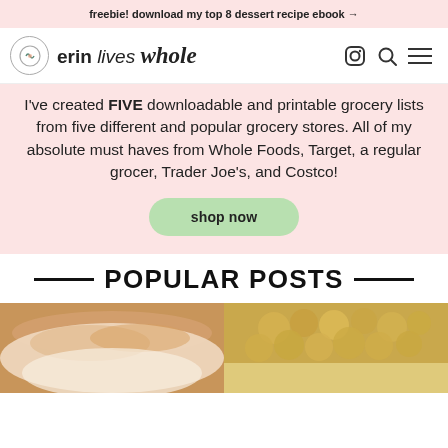freebie! download my top 8 dessert recipe ebook →
[Figure (logo): Erin Lives Whole logo with circle icon and site name]
I've created FIVE downloadable and printable grocery lists from five different and popular grocery stores. All of my absolute must haves from Whole Foods, Target, a regular grocer, Trader Joe's, and Costco!
shop now
POPULAR POSTS
[Figure (photo): Close-up food photo showing baked goods, warm brown tones, cinnamon roll or similar]
[Figure (photo): Close-up food photo showing golden chickpeas or small round nuts/legumes]